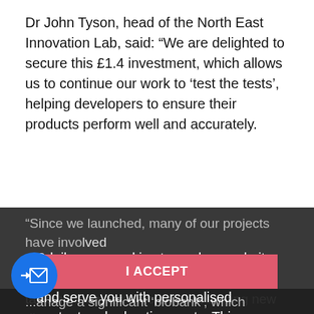Dr John Tyson, head of the North East Innovation Lab, said: “We are delighted to secure this £1.4 investment, which allows us to continue our work to ‘test the tests’, helping developers to ensure their products perform well and accurately.
“Since we launched, many of our projects have involved working to detect and contain Covid-19, playing a role in tackling the pandemic and developing new diagnostic technologies across the world.
Bdaily uses cookies to analyse website traffic, enable social media features and serve you with personalised content and advertisements. This involves the processing of personal information including your IP address and browsing behaviour. For more information, please see our Cookies Policy
I ACCEPT
“W... we are proud to... the some of th... pment to ... against future virus and health threats.
...manage a significant ‘biobank’, which contains